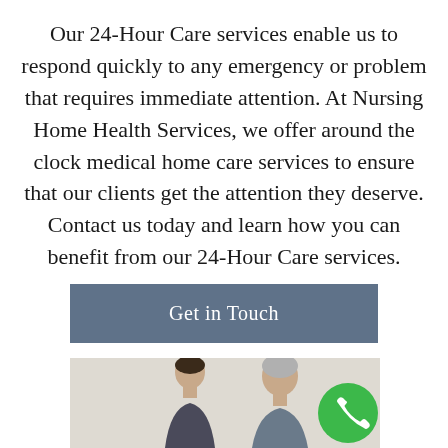Our 24-Hour Care services enable us to respond quickly to any emergency or problem that requires immediate attention. At Nursing Home Health Services, we offer around the clock medical home care services to ensure that our clients get the attention they deserve. Contact us today and learn how you can benefit from our 24-Hour Care services.
Get in Touch
[Figure (photo): Photo showing a nurse and an elderly patient from behind, partially cropped at the bottom of the page. A green circular phone call button is overlaid in the lower right corner.]